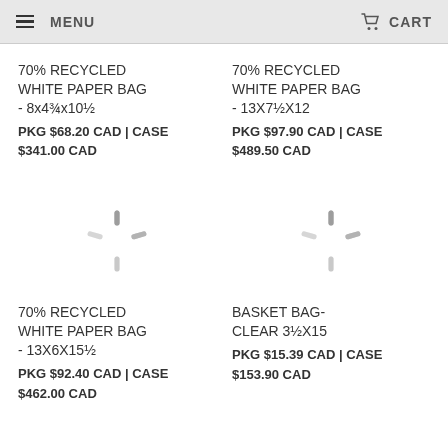MENU  CART
70% RECYCLED WHITE PAPER BAG - 8x4¾x10½
PKG $68.20 CAD | CASE $341.00 CAD
70% RECYCLED WHITE PAPER BAG - 13X7½X12
PKG $97.90 CAD | CASE $489.50 CAD
[Figure (illustration): Loading spinner icon]
[Figure (illustration): Loading spinner icon]
70% RECYCLED WHITE PAPER BAG - 13X6X15½
PKG $92.40 CAD | CASE $462.00 CAD
BASKET BAG- CLEAR 3½X15
PKG $15.39 CAD | CASE $153.90 CAD